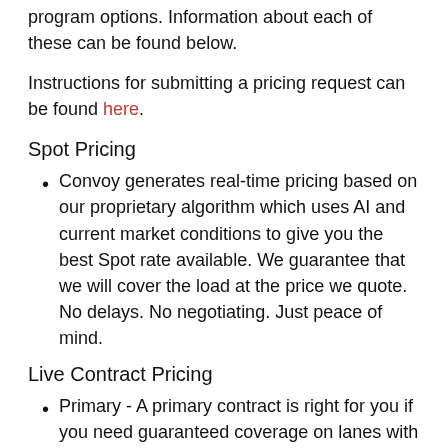program options. Information about each of these can be found below.
Instructions for submitting a pricing request can be found here.
Spot Pricing
Convoy generates real-time pricing based on our proprietary algorithm which uses AI and current market conditions to give you the best Spot rate available. We guarantee that we will cover the load at the price we quote. No delays. No negotiating. Just peace of mind.
Live Contract Pricing
Primary - A primary contract is right for you if you need guaranteed coverage on lanes with predictable volume. Primary contracts will protect